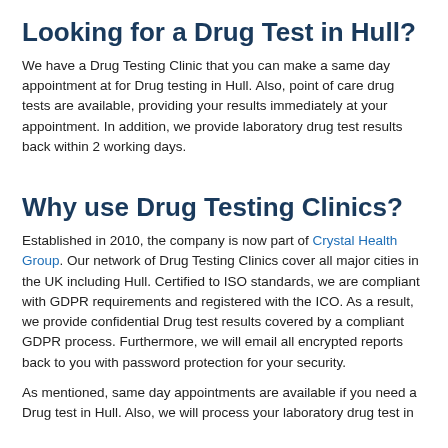Looking for a Drug Test in Hull?
We have a Drug Testing Clinic that you can make a same day appointment at for Drug testing in Hull. Also, point of care drug tests are available, providing your results immediately at your appointment. In addition, we provide laboratory drug test results back within 2 working days.
Why use Drug Testing Clinics?
Established in 2010, the company is now part of Crystal Health Group. Our network of Drug Testing Clinics cover all major cities in the UK including Hull. Certified to ISO standards, we are compliant with GDPR requirements and registered with the ICO. As a result, we provide confidential Drug test results covered by a compliant GDPR process. Furthermore, we will email all encrypted reports back to you with password protection for your security.
As mentioned, same day appointments are available if you need a Drug test in Hull. Also, we will process your laboratory drug test in